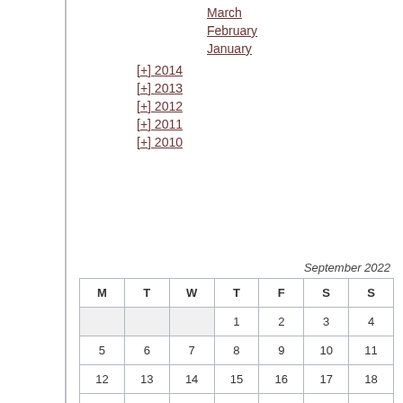March
February
January
[+] 2014
[+] 2013
[+] 2012
[+] 2011
[+] 2010
September 2022
| M | T | W | T | F | S | S |
| --- | --- | --- | --- | --- | --- | --- |
|  |  |  | 1 | 2 | 3 | 4 |
| 5 | 6 | 7 | 8 | 9 | 10 | 11 |
| 12 | 13 | 14 | 15 | 16 | 17 | 18 |
| 19 | 20 | 21 | 22 | 23 | 24 | 25 |